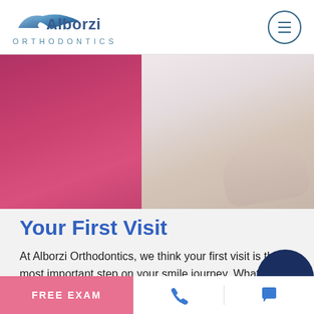[Figure (logo): Alborzi Orthodontics logo with stylized wave/swoosh graphic in blue gradient above the text 'Alborzi' and 'ORTHODONTICS']
[Figure (photo): Clinical photo showing a patient in a pink/magenta shirt seated in a dental chair, with a white-coat orthodontist working beside them]
Your First Visit
At Alborzi Orthodontics, we think your first visit is the most important step on your smile journey. What will happen at your free consultation exam?
FREE EXAM